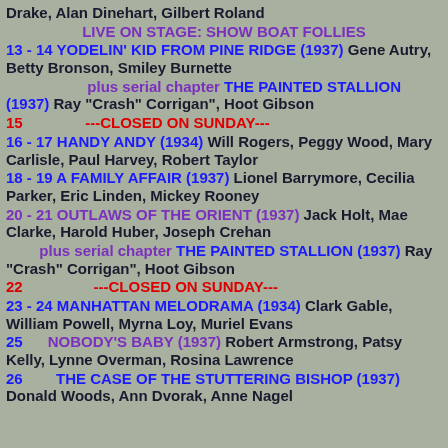Drake, Alan Dinehart, Gilbert Roland
LIVE ON STAGE: SHOW BOAT FOLLIES
13 - 14 YODELIN' KID FROM PINE RIDGE (1937) Gene Autry, Betty Bronson, Smiley Burnette
plus serial chapter THE PAINTED STALLION (1937) Ray "Crash" Corrigan", Hoot Gibson
15   ---CLOSED ON SUNDAY---
16 - 17 HANDY ANDY (1934) Will Rogers, Peggy Wood, Mary Carlisle, Paul Harvey, Robert Taylor
18 - 19 A FAMILY AFFAIR (1937) Lionel Barrymore, Cecilia Parker, Eric Linden, Mickey Rooney
20 - 21 OUTLAWS OF THE ORIENT (1937) Jack Holt, Mae Clarke, Harold Huber, Joseph Crehan
plus serial chapter THE PAINTED STALLION (1937) Ray "Crash" Corrigan", Hoot Gibson
22   ---CLOSED ON SUNDAY---
23 - 24 MANHATTAN MELODRAMA (1934) Clark Gable, William Powell, Myrna Loy, Muriel Evans
25   NOBODY'S BABY (1937) Robert Armstrong, Patsy Kelly, Lynne Overman, Rosina Lawrence
26   THE CASE OF THE STUTTERING BISHOP (1937) Donald Woods, Ann Dvorak, Anne Nagel